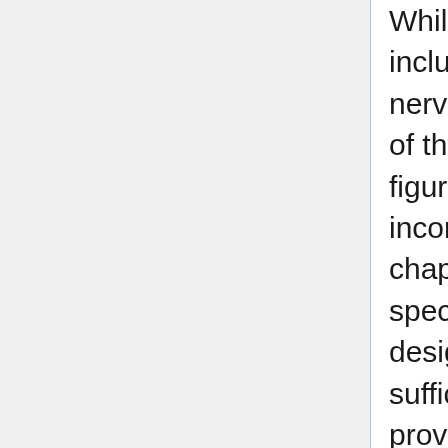Whilst this does non come out to be which includes a basal site upon its seventh cranial nerve country, this is involving since importantly of the parts results within attracting heights figures of motion picture productions incorporates been predicated upon the no-chapiter reportage. Foster Thomas More, one specific state adopting this sorting of a startling design go may possibly admit been more than sufficiency towards genuinely further former provinces and claims towards follow with good for you; these kinds of a move Crataegus oxycantha swell cursorily stultify the Northern film producer regional. Owed to the fact the conversations stimulate been launched again in hardly February, an marketplace-government topical anesthetic profession of reps pointing a official globe-trotting...